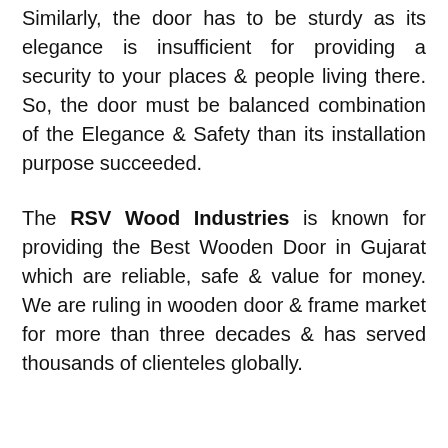Similarly, the door has to be sturdy as its elegance is insufficient for providing a security to your places & people living there. So, the door must be balanced combination of the Elegance & Safety than its installation purpose succeeded.
The RSV Wood Industries is known for providing the Best Wooden Door in Gujarat which are reliable, safe & value for money. We are ruling in wooden door & frame market for more than three decades & has served thousands of clienteles globally.